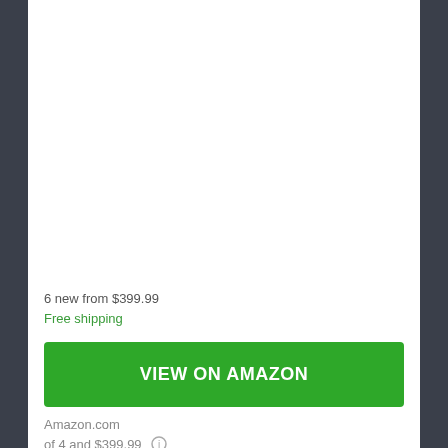6 new from $399.99
Free shipping
VIEW ON AMAZON
Amazon.com
of 4 and $399.99